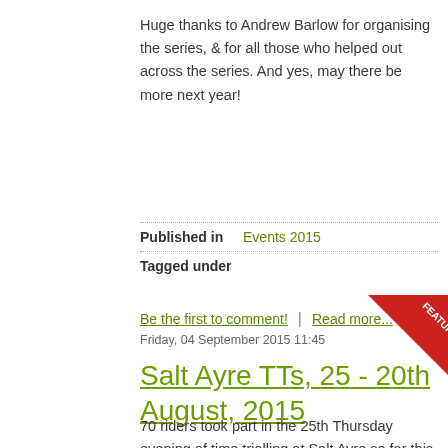Huge thanks to Andrew Barlow for organising the series, & for all those who helped out across the series. And yes, may there be more next year!
Published in  Events 2015
Tagged under
Be the first to comment!  |  Read more...
Friday, 04 September 2015 11:45
Salt Ayre TTs, 25 - 20th August, 2015
70 riders took part in the 25th Thursday evening of time trialling at Salt Ayre so far this year; 14 at 2